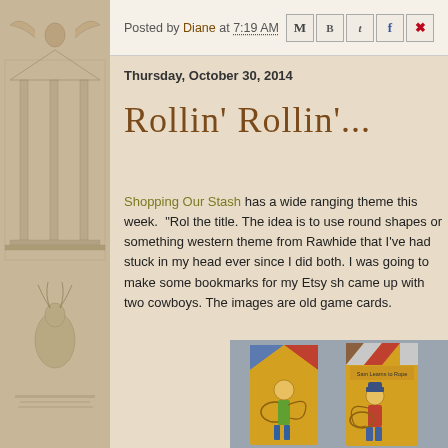[Figure (illustration): Vintage/antique engraving illustration of classical architecture and winged figure, used as a decorative sidebar background]
Posted by Diane at 7:19 AM
Thursday, October 30, 2014
Rollin' Rollin'...
Shopping Our Stash has a wide ranging theme this week. "Rol... the title. The idea is to use round shapes or something western... theme from Rawhide that I've had stuck in my head ever since... I did both. I was going to make some bookmarks for my Etsy sh... came up with two cowboys. The images are old game cards.
[Figure (photo): Two tall bookmark-style cards with vintage cowboy illustrations on yellow background, one reading 'Sam Learns to Rope']